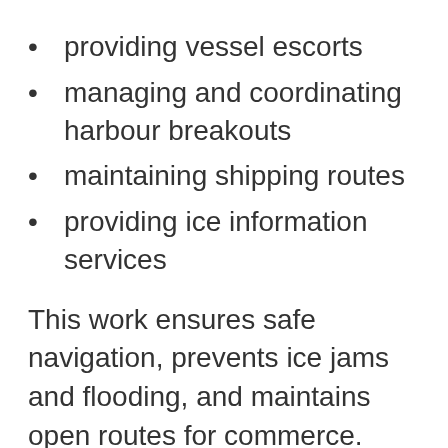providing vessel escorts
managing and coordinating harbour breakouts
maintaining shipping routes
providing ice information services
This work ensures safe navigation, prevents ice jams and flooding, and maintains open routes for commerce.
Through the Increased Presence and Extended Season in the Arctic project, the Canadian Coast Guard is extending icebreaking season in the Arctic and